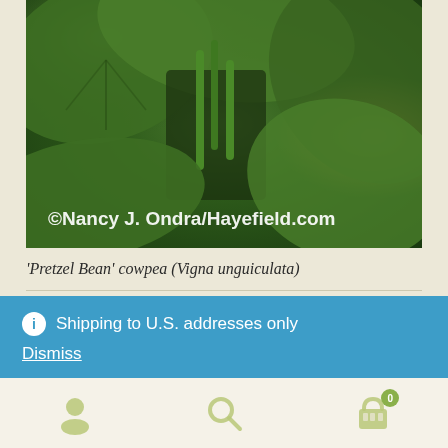[Figure (photo): Close-up photo of green plant leaves and pods with copyright watermark '©Nancy J. Ondra/Hayefield.com' overlaid in white text at bottom left]
'Pretzel Bean' cowpea (Vigna unguiculata)
Shipping to U.S. addresses only
Dismiss
Navigation icons: user, search, cart